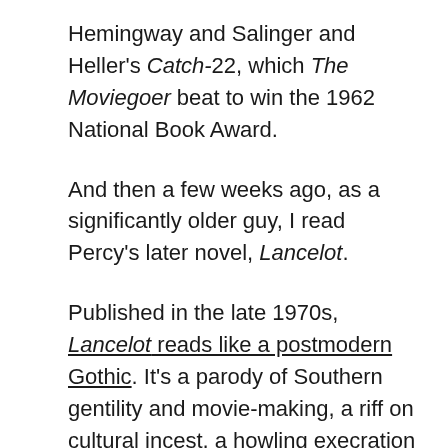Hemingway and Salinger and Heller's Catch-22, which The Moviegoer beat to win the 1962 National Book Award.
And then a few weeks ago, as a significantly older guy, I read Percy's later novel, Lancelot.
Published in the late 1970s, Lancelot reads like a postmodern Gothic. It's a parody of Southern gentility and movie-making, a riff on cultural incest, a howling execration of the century preceding it. It's a ranting monologue worthy of Thomas Bernhard, more Notes from Underground than The Stranger, rough, mean, wild. It's possible to read Lancelot as the weird dark cursed sequel to The Moviegoer, its sinister